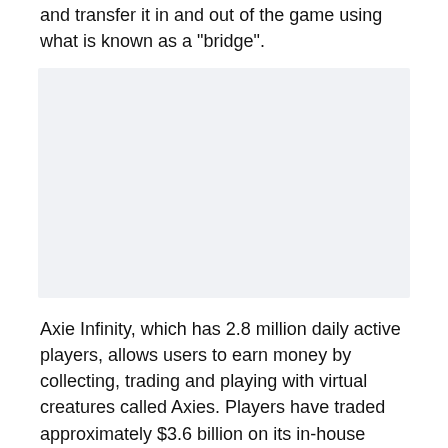and transfer it in and out of the game using what is known as a "bridge".
[Figure (other): Advertisement placeholder box with light grey background]
Axie Infinity, which has 2.8 million daily active players, allows users to earn money by collecting, trading and playing with virtual creatures called Axies. Players have traded approximately $3.6 billion on its in-house marketplace prior to the hack.
[Figure (illustration): Fantasy landscape illustration showing green mountainous terrain with blue sky, clouds, and a large blue structure or creature visible in the center — appears to be artwork from the Axie Infinity game.]